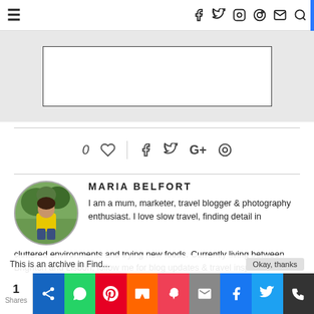Navigation bar with hamburger menu and social icons (f, Twitter, Instagram, Pinterest, mail, search)
[Figure (other): Advertisement or image placeholder block — light gray background with a white rectangle outlined in dark border]
[Figure (infographic): Social share row: 0 heart likes, divider, Facebook, Twitter, Google+, Pinterest share icons]
MARIA BELFORT
[Figure (photo): Circular profile photo of Maria Belfort — woman in yellow shirt standing outdoors]
I am a mum, marketer, travel blogger & photography enthusiast. I love slow travel, finding detail in cluttered environments and trying new foods. Currently living between Brighton and Lisbon, follow me for blog updates & travel inspiration.
1 Shares — social share buttons: Pushbullet, WhatsApp, Pinterest, Flipboard, Pocket, Mail, Facebook, Twitter, Mix